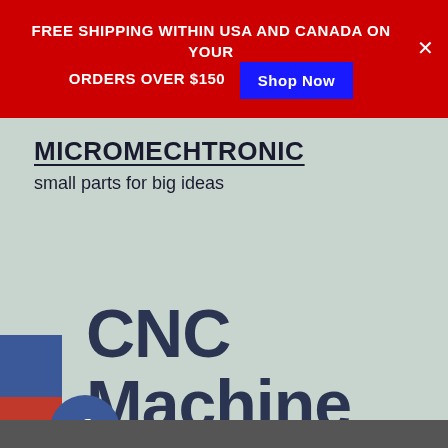FREE SHIPPING WITHIN USA AND CANADA ON YOUR ORDERS OVER $150 Shop Now
MICROMECHTRONIC
small parts for big ideas
CNC Machine Robotics
[Figure (other): Social media share icons: Facebook (blue), red, Twitter/X (cyan), red, orange squares stacked vertically on left side, with Facebook circular icon overlapping]